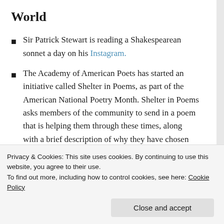World
Sir Patrick Stewart is reading a Shakespearean sonnet a day on his Instagram.
The Academy of American Poets has started an initiative called Shelter in Poems, as part of the American National Poetry Month. Shelter in Poems asks members of the community to send in a poem that is helping them through these times, along with a brief description of why they have chosen this poem. Selected poems and accompanying responses are shown on their website, and you can also follow
Privacy & Cookies: This site uses cookies. By continuing to use this website, you agree to their use.
To find out more, including how to control cookies, see here: Cookie Policy
Close and accept